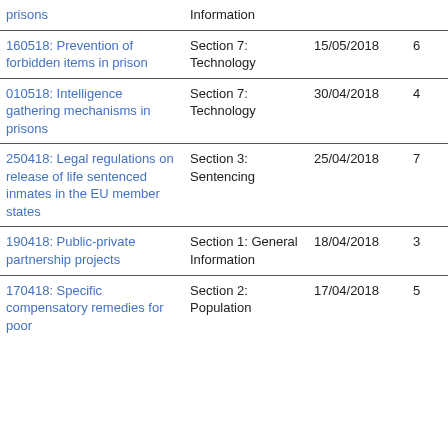| Title | Section | Date | Col4 | Col5 |
| --- | --- | --- | --- | --- |
| prisons | Information |  |  |  |
| 160518: Prevention of forbidden items in prison | Section 7: Technology | 15/05/2018 | 6 | 8 |
| 010518: Intelligence gathering mechanisms in prisons | Section 7: Technology | 30/04/2018 | 4 | 1 |
| 250418: Legal regulations on release of life sentenced inmates in the EU member states | Section 3: Sentencing | 25/04/2018 | 7 | 1 |
| 190418: Public-private partnership projects | Section 1: General Information | 18/04/2018 | 3 | 5 |
| 170418: Specific compensatory remedies for poor | Section 2: Population | 17/04/2018 | 5 | 9 |